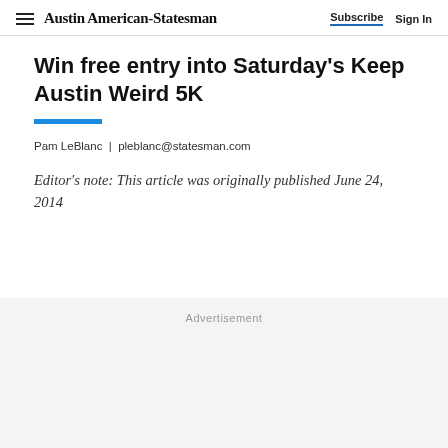Austin American-Statesman  Subscribe  Sign In
Win free entry into Saturday's Keep Austin Weird 5K
Pam LeBlanc | pleblanc@statesman.com
Editor's note: This article was originally published June 24, 2014
Advertisement